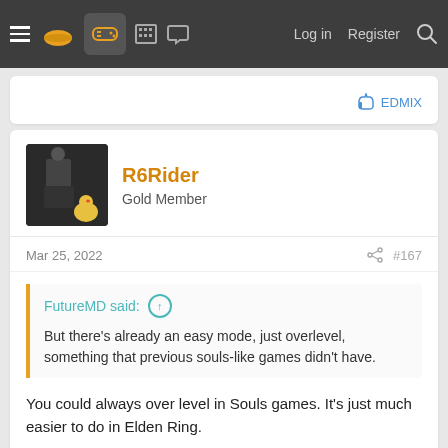Navigation bar with logo, gamepad icon, menu icons, Log in, Register, Search
EDMIX
R6Rider
Gold Member
Mar 25, 2022  #167
FutureMD said: ↑

But there's already an easy mode, just overlevel, something that previous souls-like games didn't have.
You could always over level in Souls games. It's just much easier to do in Elden Ring.